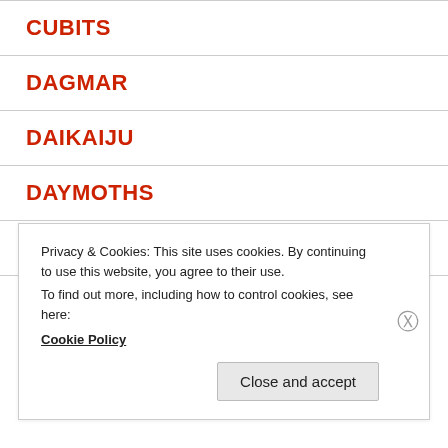CUBITS
DAGMAR
DAIKAIJU
DAYMOTHS
DEAF POETS
DOHSE
Privacy & Cookies: This site uses cookies. By continuing to use this website, you agree to their use.
To find out more, including how to control cookies, see here: Cookie Policy
Close and accept